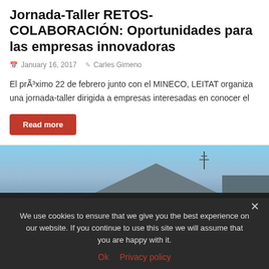Jornada-Taller RETOS-COLABORACIÓN: Oportunidades para las empresas innovadoras
January 16, 2017   Carles Gimeno
El prÃ³ximo 22 de febrero junto con el MINECO, LEITAT organiza una jornada-taller dirigida a empresas interesadas en conocer el
Read more
[Figure (photo): Partial view of a building rooftop against a blue sky]
We use cookies to ensure that we give you the best experience on our website. If you continue to use this site we will assume that you are happy with it.
Ok   Privacy policy